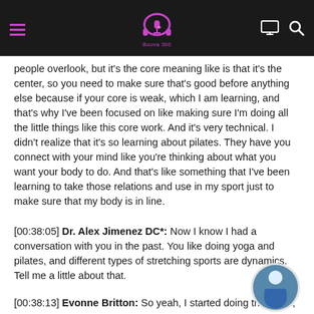BuuVei 360 podcast navigation header
people overlook, but it's the core meaning like is that it's the center, so you need to make sure that's good before anything else because if your core is weak, which I am learning, and that's why I've been focused on like making sure I'm doing all the little things like this core work. And it's very technical. I didn't realize that it's so learning about pilates. They have you connect with your mind like you're thinking about what you want your body to do. And that's like something that I've been learning to take those relations and use in my sport just to make sure that my body is in line.
[00:38:05] Dr. Alex Jimenez DC*: Now I know I had a conversation with you in the past. You like doing yoga and pilates, and different types of stretching sports are dynamics. Tell me a little about that.
[00:38:13] Evonne Britton: So yeah, I started doing that. Like,